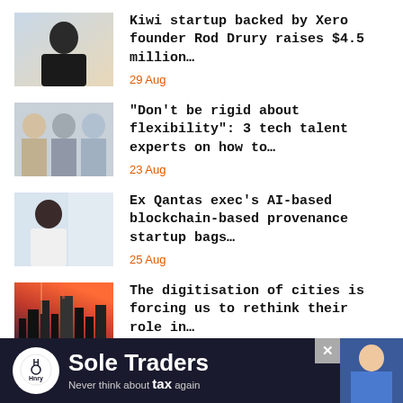Kiwi startup backed by Xero founder Rod Drury raises $4.5 million…
29 Aug
"Don't be rigid about flexibility": 3 tech talent experts on how to…
23 Aug
Ex Qantas exec's AI-based blockchain-based provenance startup bags…
25 Aug
The digitisation of cities is forcing us to rethink their role in…
[Figure (infographic): Advertisement banner for Hnry 'Sole Traders — Never think about tax again' with dark background and Hnry logo circle]